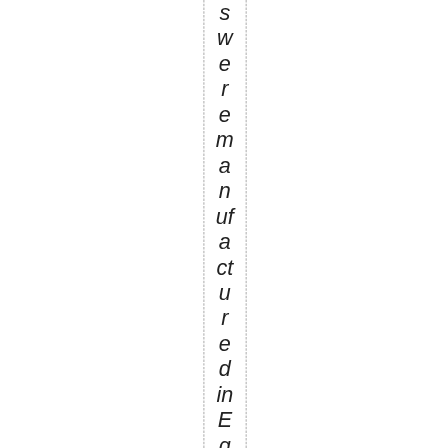s w e r e m a n uf a ct u r e d in E g y pt in th e R o